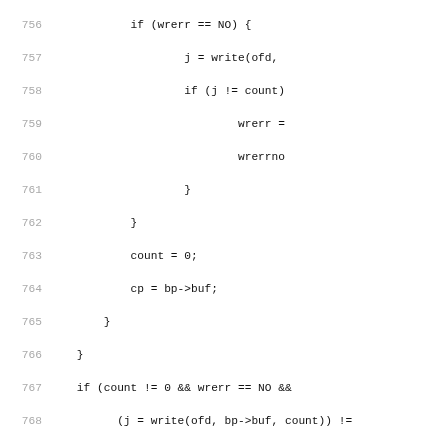[Figure (screenshot): Source code listing (C language) showing lines 756–787 of a file, displaying file write and chmod operations with error handling. Lines are numbered in gray on the left, code in monospace font on the right.]